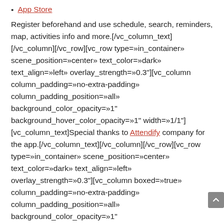App Store
Register beforehand and use schedule, search, reminders, map, activities info and more.[/vc_column_text][/vc_column][/vc_row][vc_row type=»in_container» scene_position=»center» text_color=»dark» text_align=»left» overlay_strength=»0.3"][vc_column column_padding=»no-extra-padding» column_padding_position=»all» background_color_opacity=»1" background_hover_color_opacity=»1" width=»1/1"][vc_column_text]Special thanks to Attendify company for the app.[/vc_column_text][/vc_column][/vc_row][vc_row type=»in_container» scene_position=»center» text_color=»dark» text_align=»left» overlay_strength=»0.3"][vc_column boxed=»true» column_padding=»no-extra-padding» column_padding_position=»all» background_color_opacity=»1" background_hover_color_opacity=»1" width=»1/1"][vc_column_text]Don't forget to rank sessions in the app. We need your feedback![/vc_column_text][/vc_column][/vc_row][vc_row type=»in_container» scene_position=»center»